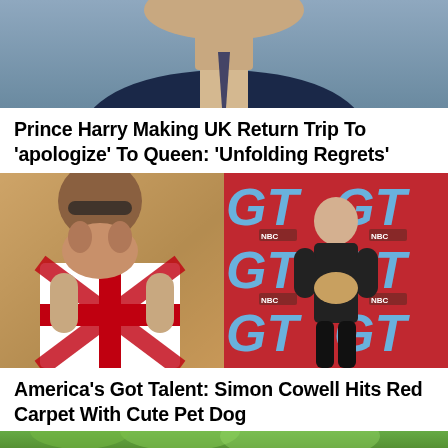[Figure (photo): Close-up photo of a man in a dark suit, cropped to show lower face and upper body]
Prince Harry Making UK Return Trip To ‘apologize’ To Queen: ‘Unfolding Regrets’
[Figure (photo): Two side-by-side photos: left shows a man in a Union Jack shirt holding a small dog up to his face; right shows a man in black holding a cat/small animal in front of America's Got Talent NBC backdrop]
America's Got Talent: Simon Cowell Hits Red Carpet With Cute Pet Dog
[Figure (photo): Partial photo, green background, partially visible at bottom of page]